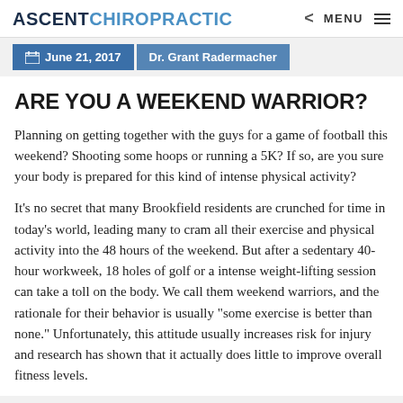ASCENT CHIROPRACTIC | MENU
June 21, 2017 | Dr. Grant Radermacher
ARE YOU A WEEKEND WARRIOR?
Planning on getting together with the guys for a game of football this weekend? Shooting some hoops or running a 5K? If so, are you sure your body is prepared for this kind of intense physical activity?
It’s no secret that many Brookfield residents are crunched for time in today’s world, leading many to cram all their exercise and physical activity into the 48 hours of the weekend. But after a sedentary 40-hour workweek, 18 holes of golf or a intense weight-lifting session can take a toll on the body. We call them weekend warriors, and the rationale for their behavior is usually “some exercise is better than none.” Unfortunately, this attitude usually increases risk for injury and research has shown that it actually does little to improve overall fitness levels.